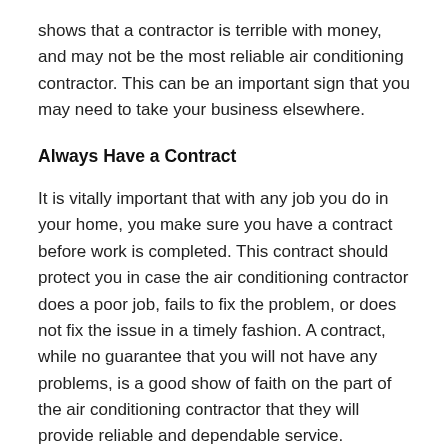shows that a contractor is terrible with money, and may not be the most reliable air conditioning contractor. This can be an important sign that you may need to take your business elsewhere.
Always Have a Contract
It is vitally important that with any job you do in your home, you make sure you have a contract before work is completed. This contract should protect you in case the air conditioning contractor does a poor job, fails to fix the problem, or does not fix the issue in a timely fashion. A contract, while no guarantee that you will not have any problems, is a good show of faith on the part of the air conditioning contractor that they will provide reliable and dependable service.